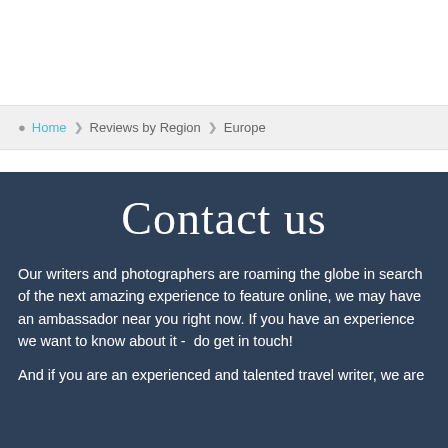Home > Reviews by Region > Europe
Contact us
Our writers and photographers are roaming the globe in search of the next amazing experience to feature online, we may have an ambassador near you right now. If you have an experience we want to know about it -  do get in touch!
And if you are an experienced and talented travel writer, we are